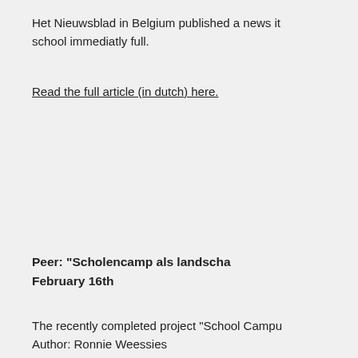Het Nieuwsblad in Belgium published a news item about the school immediatly full.
Read the full article (in dutch) here.
Peer: "Scholencamp als landscha...
February 16th
The recently completed project "School Campu...
Author: Ronnie Weessies